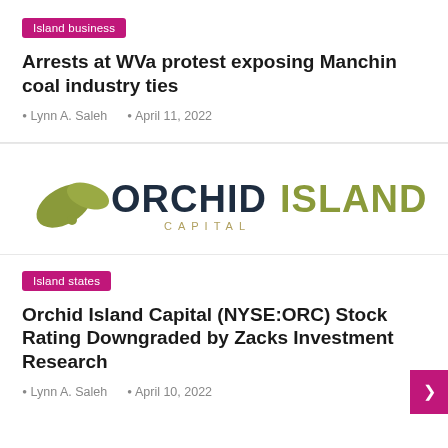Island business
Arrests at WVa protest exposing Manchin coal industry ties
Lynn A. Saleh   April 11, 2022
[Figure (logo): Orchid Island Capital logo with stylized leaf/orchid graphic in olive green and text 'ORCHID ISLAND CAPITAL']
Island states
Orchid Island Capital (NYSE:ORC) Stock Rating Downgraded by Zacks Investment Research
Lynn A. Saleh   April 10, 2022